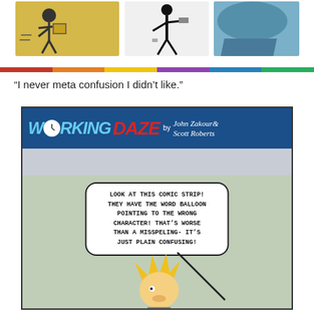[Figure (illustration): Three comic strip panels at top showing cartoon characters: a person carrying boxes, a tall stick-like figure with a paint roller, and a blue/grey abstract shape]
[Figure (illustration): Horizontal rainbow/multicolor decorative bar divider]
“I never meta confusion I didn’t like.”
[Figure (illustration): Working Daze comic strip by John Zakour & Scott Roberts. A speech bubble reads: LOOK AT THIS COMIC STRIP! THEY HAVE THE WORD BALLOON POINTING TO THE WRONG CHARACTER! THAT’S WORSE THAN A MISSPELING- IT’S JUST PLAIN CONFUSING! Below is a cartoon character with yellow spiky hair.]